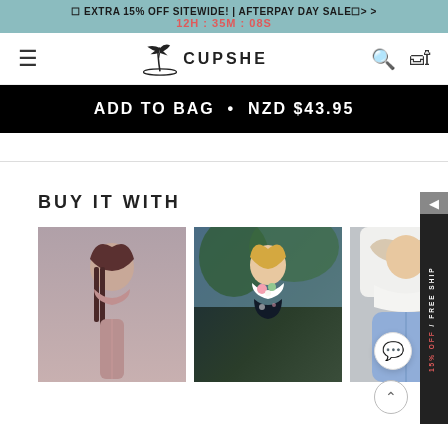🟦 EXTRA 15% OFF SITEWIDE! | AFTERPAY DAY SALE🟦> > 12H : 35M : 08S
[Figure (logo): Cupshe brand logo with palm tree icon and search/bag icons in navigation bar]
ADD TO BAG  •  NZD $43.95
BUY IT WITH
[Figure (photo): Woman in mauve/dusty rose sports bra and leggings sitting cross-legged on grey background]
[Figure (photo): Woman in floral tropical print bikini top and shorts outdoors with trees]
[Figure (photo): Woman in white long sleeve top and light blue leggings, partial view]